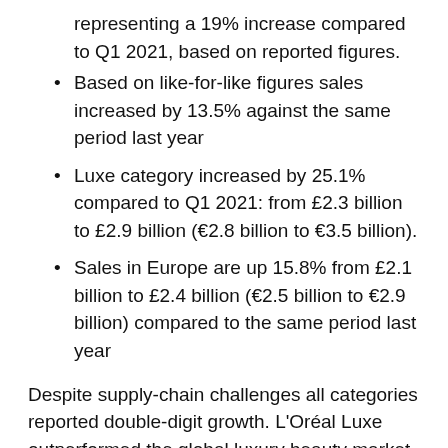representing a 19% increase compared to Q1 2021, based on reported figures.
Based on like-for-like figures sales increased by 13.5% against the same period last year
Luxe category increased by 25.1% compared to Q1 2021: from £2.3 billion to £2.9 billion (€2.8 billion to €3.5 billion).
Sales in Europe are up 15.8% from £2.1 billion to £2.4 billion (€2.5 billion to €2.9 billion) compared to the same period last year
Despite supply-chain challenges all categories reported double-digit growth. L'Oréal Luxe outperformed the global luxury beauty market, the company reported,